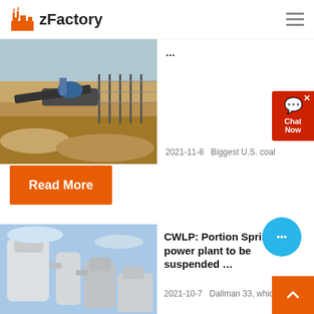zFactory
[Figure (photo): Construction or mining site with sand/soil and machinery, outdoor industrial scene]
...
2021-11-8   Biggest U.S. coal
Read More
[Figure (photo): Industrial power plant or factory equipment with large white pipes and silos against a blue sky]
CWLP: Portion Springfield power plant to be suspended ...
2021-10-7   Dallman 33, which is ...